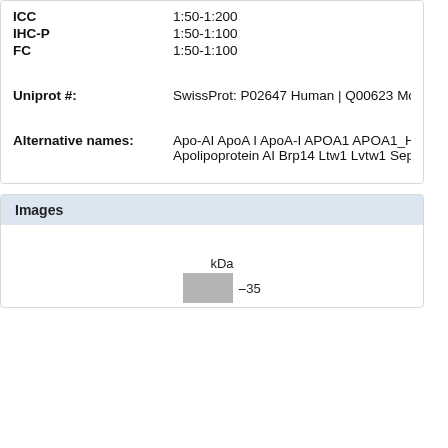| Application | Dilution |
| --- | --- |
| ICC | 1:50-1:200 |
| IHC-P | 1:50-1:100 |
| FC | 1:50-1:100 |
Uniprot #: SwissProt: P02647 Human | Q00623 Mouse
Alternative names: Apo-AI ApoA I ApoA-I APOA1 APOA1_H... Apolipoprotein AI Brp14 Ltw1 Lvtw1 Sep1
Images
[Figure (other): Western blot gel image showing a band at approximately 35 kDa with kDa scale label and -35 marker]